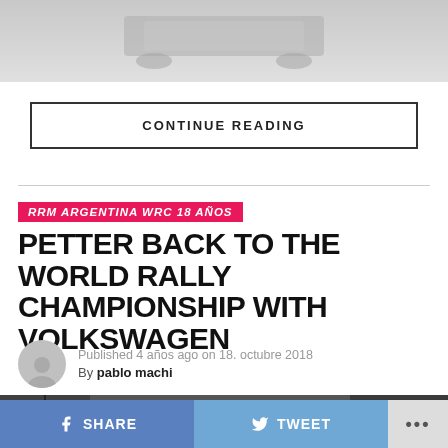[Figure (photo): Partial vehicle/car image at top of page, faded gray]
CONTINUE READING
RRM ARGENTINA WRC 18 AÑOS
PETTER BACK TO THE WORLD RALLY CHAMPIONSHIP WITH VOLKSWAGEN
Published 4 años ago on 18. octubre 2018
By pablo machi
[Figure (photo): Rally car in dark garage/workshop setting]
SHARE
TWEET
...